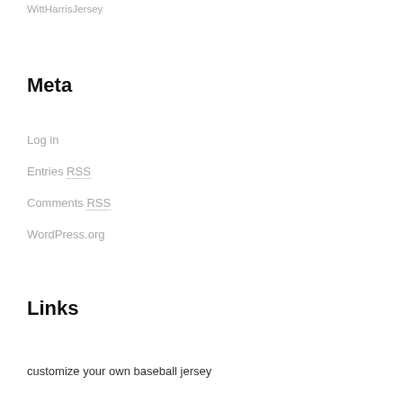WittHarrisJersey
Meta
Log in
Entries RSS
Comments RSS
WordPress.org
Links
customize your own baseball jersey